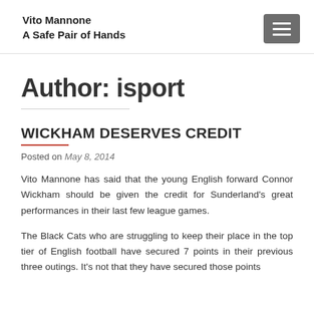Vito Mannone
A Safe Pair of Hands
Author: isport
WICKHAM DESERVES CREDIT
Posted on May 8, 2014
Vito Mannone has said that the young English forward Connor Wickham should be given the credit for Sunderland's great performances in their last few league games.
The Black Cats who are struggling to keep their place in the top tier of English football have secured 7 points in their previous three outings. It's not that they have secured those points